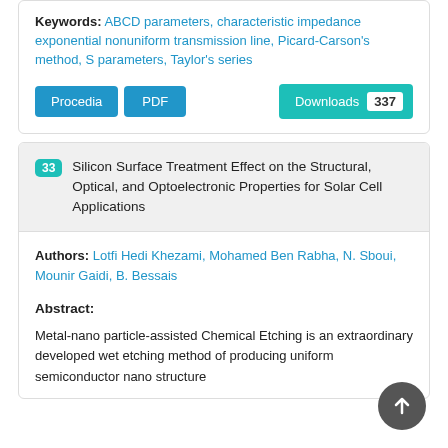Keywords: ABCD parameters, characteristic impedance exponential nonuniform transmission line, Picard-Carson's method, S parameters, Taylor's series
Procedia  PDF  Downloads 337
33 Silicon Surface Treatment Effect on the Structural, Optical, and Optoelectronic Properties for Solar Cell Applications
Authors: Lotfi Hedi Khezami, Mohamed Ben Rabha, N. Sboui, Mounir Gaidi, B. Bessais
Abstract:
Metal-nano particle-assisted Chemical Etching is an extraordinary developed wet etching method of producing uniform semiconductor nano structure